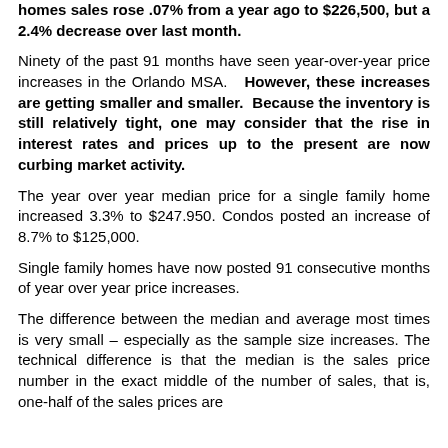homes sales rose .07% from a year ago to $226,500, but a 2.4% decrease over last month.
Ninety of the past 91 months have seen year-over-year price increases in the Orlando MSA. However, these increases are getting smaller and smaller. Because the inventory is still relatively tight, one may consider that the rise in interest rates and prices up to the present are now curbing market activity.
The year over year median price for a single family home increased 3.3% to $247.950. Condos posted an increase of 8.7% to $125,000.
Single family homes have now posted 91 consecutive months of year over year price increases.
The difference between the median and average most times is very small – especially as the sample size increases. The technical difference is that the median is the sales price number in the exact middle of the number of sales, that is, one-half of the sales prices are